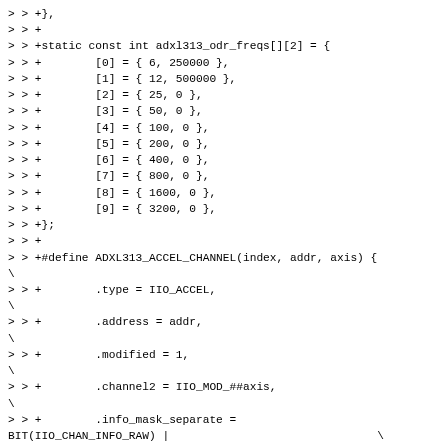> > +},
> > +
> > +static const int adxl313_odr_freqs[][2] = {
> > +		[0] = { 6, 250000 },
> > +		[1] = { 12, 500000 },
> > +		[2] = { 25, 0 },
> > +		[3] = { 50, 0 },
> > +		[4] = { 100, 0 },
> > +		[5] = { 200, 0 },
> > +		[6] = { 400, 0 },
> > +		[7] = { 800, 0 },
> > +		[8] = { 1600, 0 },
> > +		[9] = { 3200, 0 },
> > +};
> > +
> > +#define ADXL313_ACCEL_CHANNEL(index, addr, axis) {	\
\
> > +		.type = IIO_ACCEL,				\
\
> > +		.address = addr,				\
\
> > +		.modified = 1,					\
\
> > +		.channel2 = IIO_MOD_##axis,			\
\
> > +		.info_mask_separate =				\
BIT(IIO_CHAN_INFO_RAW) |					\
> > +
BIT(IIO_CHAN_INFO_CALIBBIAS),				\
> > +		.info_mask_shared_by_type =			\
BIT(IIO_CHAN_INFO_SCALE) |